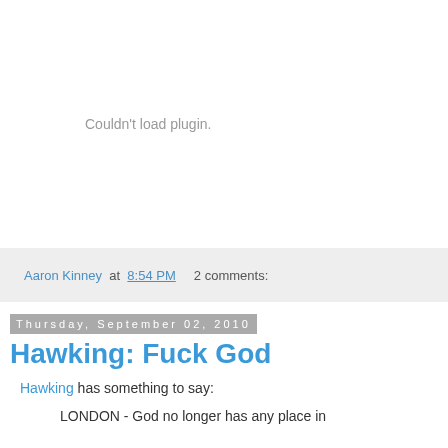[Figure (other): Plugin placeholder area showing 'Couldn't load plugin.' message in gray text on white background]
Aaron Kinney at 8:54 PM    2 comments:
Thursday, September 02, 2010
Hawking: Fuck God
Hawking has something to say:
LONDON - God no longer has any place in